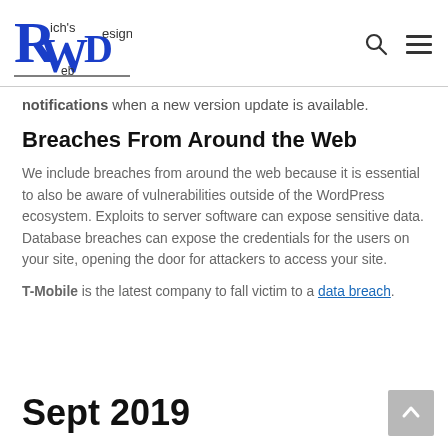Rich's Web Design logo, search icon, menu icon
notifications when a new version update is available.
Breaches From Around the Web
We include breaches from around the web because it is essential to also be aware of vulnerabilities outside of the WordPress ecosystem. Exploits to server software can expose sensitive data. Database breaches can expose the credentials for the users on your site, opening the door for attackers to access your site.
T-Mobile is the latest company to fall victim to a data breach.
Sept 2019